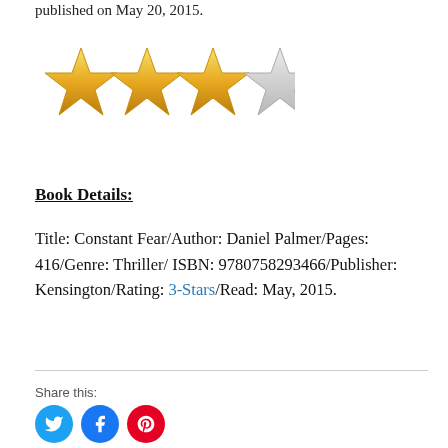published on May 20, 2015.
[Figure (illustration): 3 out of 5 gold stars rating — three filled gold stars followed by two grey/empty stars]
Book Details:
Title: Constant Fear/Author: Daniel Palmer/Pages: 416/Genre: Thriller/ ISBN: 9780758293466/Publisher: Kensington/Rating: 3-Stars/Read: May, 2015.
Share this: